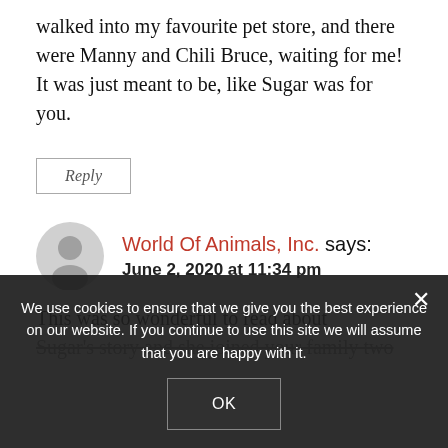walked into my favourite pet store, and there were Manny and Chili Bruce, waiting for me! It was just meant to be, like Sugar was for you.
Reply
World Of Animals, Inc. says:
June 2, 2020 at 11:34 pm
This was so wonderful to read about Sugar's story and she joined your family two
We use cookies to ensure that we give you the best experience on our website. If you continue to use this site we will assume that you are happy with it.
OK